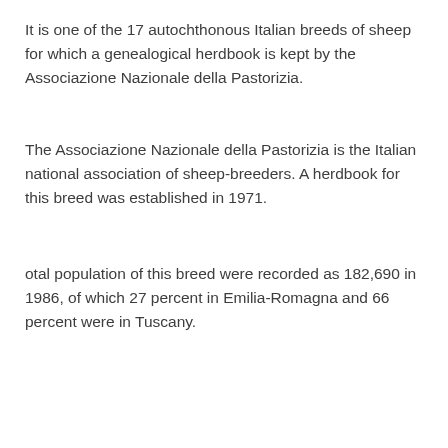It is one of the 17 autochthonous Italian breeds of sheep for which a genealogical herdbook is kept by the Associazione Nazionale della Pastorizia.
The Associazione Nazionale della Pastorizia is the Italian national association of sheep-breeders. A herdbook for this breed was established in 1971.
otal population of this breed were recorded as 182,690 in 1986, of which 27 percent in Emilia-Romagna and 66 percent were in Tuscany.